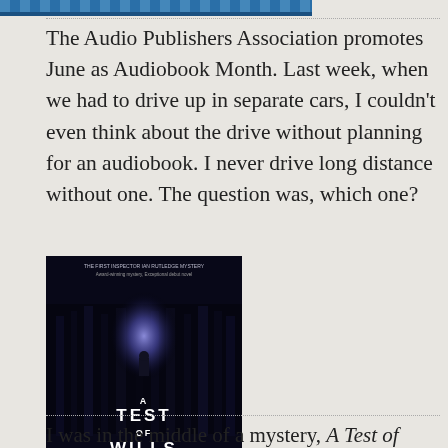[Figure (photo): Partial blue banner/header image at the top of the page]
The Audio Publishers Association promotes June as Audiobook Month. Last week, when we had to drive up in separate cars, I couldn't even think about the drive without planning for an audiobook. I never drive long distance without one. The question was, which one?
[Figure (photo): Book cover of 'A Test of Wills' by Charles Todd — dark cover with forest silhouette and glowing light, orange author name at bottom]
I was in the middle of a mystery, A Test of Wills by Charles Todd. It's the first book in his/her/their Inspector Ian Rutledge series. (Charles